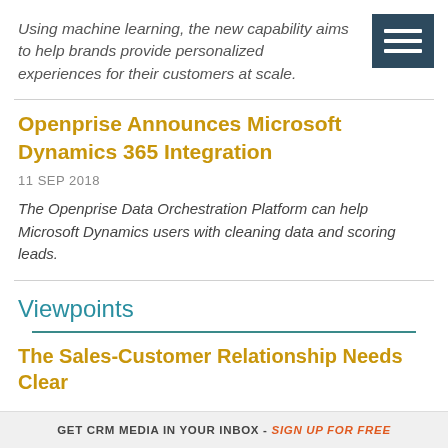Using machine learning, the new capability aims to help brands provide personalized experiences for their customers at scale.
[Figure (other): Hamburger menu icon — three white horizontal bars on a dark teal/navy square background]
Openprise Announces Microsoft Dynamics 365 Integration
11 SEP 2018
The Openprise Data Orchestration Platform can help Microsoft Dynamics users with cleaning data and scoring leads.
Viewpoints
The Sales-Customer Relationship Needs Clear